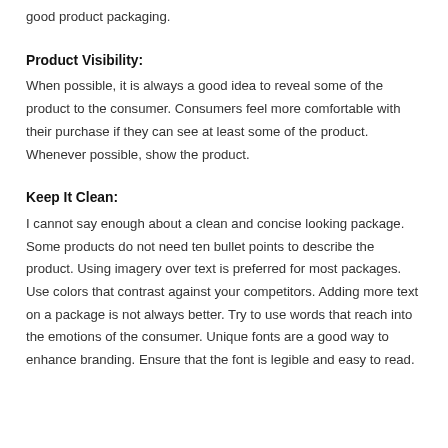good product packaging.
Product Visibility:
When possible, it is always a good idea to reveal some of the product to the consumer. Consumers feel more comfortable with their purchase if they can see at least some of the product. Whenever possible, show the product.
Keep It Clean:
I cannot say enough about a clean and concise looking package.  Some products do not need ten bullet points to describe the product.  Using imagery over text is preferred for most packages.  Use colors that contrast against your competitors.  Adding more text on a package is not always better.  Try to use words that reach into the emotions of the consumer.  Unique fonts are a good way to enhance branding.  Ensure that the font is legible and easy to read.